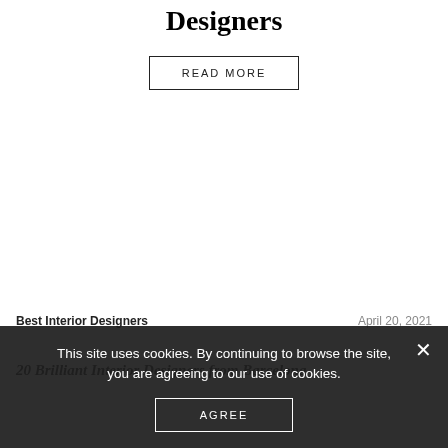Designers
READ MORE
Best Interior Designers
April 20, 2021
20 Brilliant Interior Designers from Barcelona
This site uses cookies. By continuing to browse the site, you are agreeing to our use of cookies.
AGREE